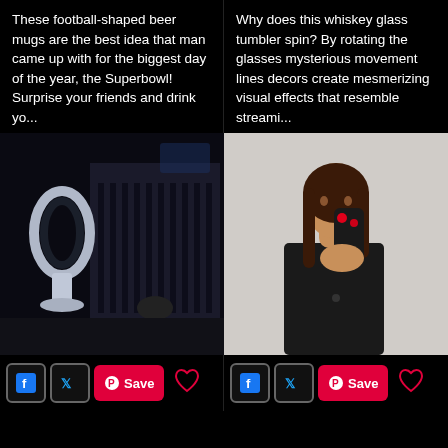These football-shaped beer mugs are the best idea that man came up with for the biggest day of the year, the Superbowl! Surprise your friends and drink yo...
Why does this whiskey glass tumbler spin? By rotating the glasses mysterious movement lines decors create mesmerizing visual effects that resemble streami...
[Figure (photo): A Dyson bladeless fan on a dark background with what appears to be a baby crib in the background]
[Figure (photo): A woman in a black outfit holding a dark device with a red light/LED near her face]
Social sharing buttons: Facebook, Twitter, Pinterest Save, Heart
Social sharing buttons: Facebook, Twitter, Pinterest Save, Heart